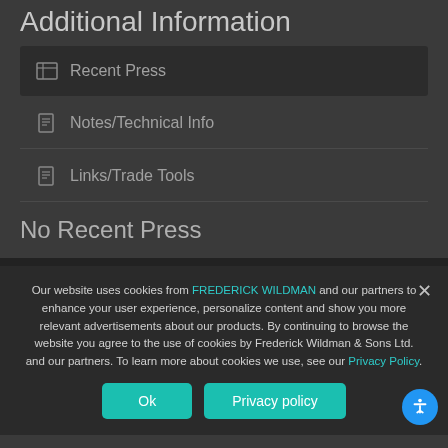Additional Information
Recent Press
Notes/Technical Info
Links/Trade Tools
No Recent Press
Our website uses cookies from FREDERICK WILDMAN and our partners to enhance your user experience, personalize content and show you more relevant advertisements about our products. By continuing to browse the website you agree to the use of cookies by Frederick Wildman & Sons Ltd. and our partners. To learn more about cookies we use, see our Privacy Policy.